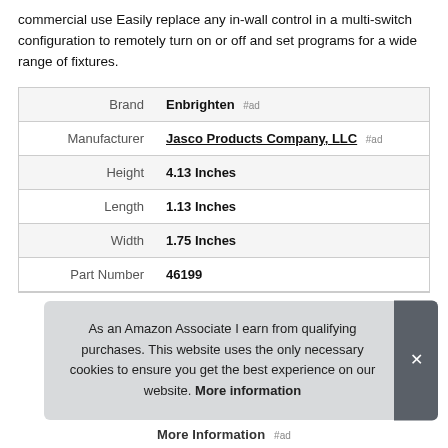commercial use Easily replace any in-wall control in a multi-switch configuration to remotely turn on or off and set programs for a wide range of fixtures.
|  |  |
| --- | --- |
| Brand | Enbrighten #ad |
| Manufacturer | Jasco Products Company, LLC #ad |
| Height | 4.13 Inches |
| Length | 1.13 Inches |
| Width | 1.75 Inches |
| Part Number | 46199 |
As an Amazon Associate I earn from qualifying purchases. This website uses the only necessary cookies to ensure you get the best experience on our website. More information
More Information #ad